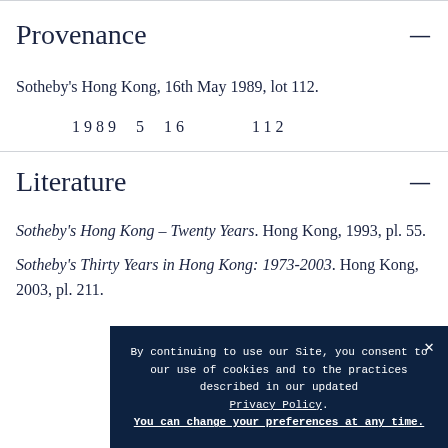Provenance
Sotheby's Hong Kong, 16th May 1989, lot 112.
1989  5  16        112
Literature
Sotheby's Hong Kong – Twenty Years. Hong Kong, 1993, pl. 55.
Sotheby's Thirty Years in Hong Kong: 1973-2003. Hong Kong, 2003, pl. 211.
By continuing to use our Site, you consent to our use of cookies and to the practices described in our updated Privacy Policy. You can change your preferences at any time.